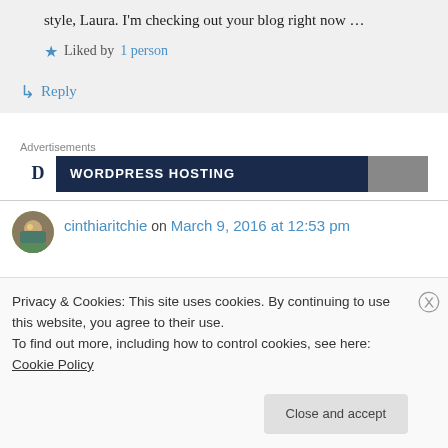style, Laura. I'm checking out your blog right now …
★ Liked by 1 person
↳ Reply
Advertisements
[Figure (other): WordPress Hosting advertisement banner with dark navy background]
cinthiaritchie on March 9, 2016 at 12:53 pm
Privacy & Cookies: This site uses cookies. By continuing to use this website, you agree to their use.
To find out more, including how to control cookies, see here: Cookie Policy
Close and accept